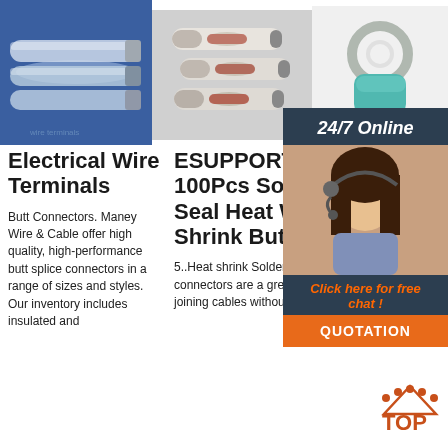[Figure (photo): Electrical wire tubes/heat shrink tubing on blue background]
[Figure (photo): ESUPPORT 100Pcs Solder Seal Heat Shrink Wire Butt connectors product photo]
[Figure (photo): Ring terminal wire connector in teal/blue on white background]
[Figure (infographic): 24/7 Online chat support panel with female agent wearing headset, Click here for free chat button, and QUOTATION button]
Electrical Wire Terminals
Butt Connectors. Maney Wire & Cable offer high quality, high-performance butt splice connectors in a range of sizes and styles. Our inventory includes insulated and
ESUPPORT 100Pcs Solder Seal Heat Wire Shrink Butt Ter
5..Heat shrink Solder connectors are a great way to joining cables without the need
Ama 50 P Sola Sea Con - Wi
Buy 50 PCS Solder Seal Wire Connectors - Wirefy Heat Shrink Butt Connectors – Solder Sh